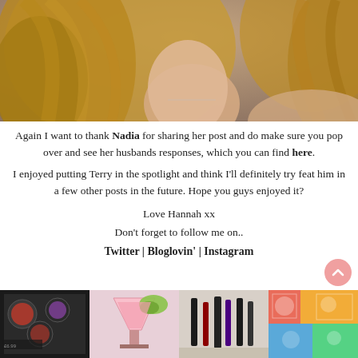[Figure (photo): Close-up photo of a blonde woman, showing her neck and lower face with long blonde hair, warm-toned background]
Again I want to thank Nadia for sharing her post and do make sure you pop over and see her husbands responses, which you can find here.
I enjoyed putting Terry in the spotlight and think I'll definitely try feat him in a few other posts in the future. Hope you guys enjoyed it?
Love Hannah xx
Don't forget to follow me on..
Twitter | Bloglovin' | Instagram
[Figure (photo): Four Instagram-style thumbnail photos showing makeup products, a pink cocktail drink, eye makeup/pencils, and colorful art/items]